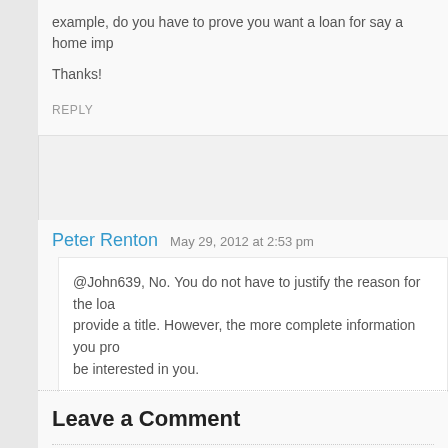example, do you have to prove you want a loan for say a home imp
Thanks!
REPLY
Peter Renton  May 29, 2012 at 2:53 pm
@John639, No. You do not have to justify the reason for the loa provide a title. However, the more complete information you pro be interested in you.
REPLY
Leave a Comment
Name *